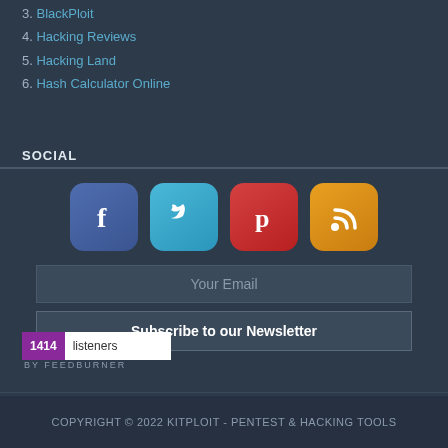3. BlackPloit
4. Hacking Reviews
5. Hacking Land
6. Hash Calculator Online
SOCIAL
[Figure (illustration): Four social media icon buttons: Facebook (blue), Twitter (light blue), Pinterest (red), RSS (orange/gold)]
Your Email
Subscribe to our Newsletter
[Figure (other): FeedBurner badge showing 1414 listeners]
COPYRIGHT © 2022 KITPLOIT - PENTEST & HACKING TOOLS